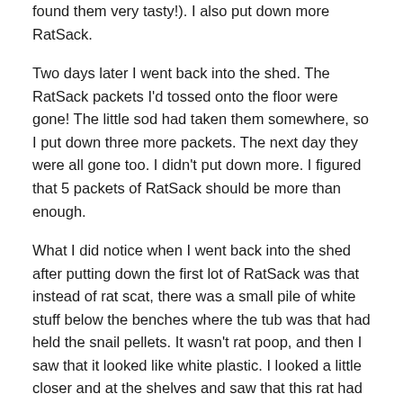found them very tasty!). I also put down more RatSack.
Two days later I went back into the shed. The RatSack packets I'd tossed onto the floor were gone! The little sod had taken them somewhere, so I put down three more packets. The next day they were all gone too. I didn't put down more. I figured that 5 packets of RatSack should be more than enough.
What I did notice when I went back into the shed after putting down the first lot of RatSack was that instead of rat scat, there was a small pile of white stuff below the benches where the tub was that had held the snail pellets. It wasn't rat poop, and then I saw that it looked like white plastic. I looked a little closer and at the shelves and saw that this rat had chewed through an entire corner of a hard-plastic tub and had started work on another one!